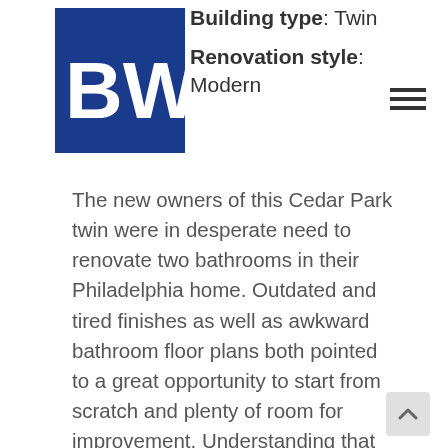Building type: Twin
Renovation style: Modern
The new owners of this Cedar Park twin were in desperate need to renovate two bathrooms in their Philadelphia home. Outdated and tired finishes as well as awkward bathroom floor plans both pointed to a great opportunity to start from scratch and plenty of room for improvement. Understanding that the poor layout would present a challenge to correct due to the existing walls and surrounding bedrooms, they interviewed us to find out what we could offer as